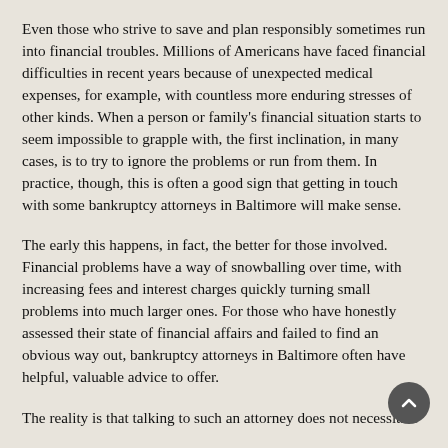Even those who strive to save and plan responsibly sometimes run into financial troubles. Millions of Americans have faced financial difficulties in recent years because of unexpected medical expenses, for example, with countless more enduring stresses of other kinds. When a person or family's financial situation starts to seem impossible to grapple with, the first inclination, in many cases, is to try to ignore the problems or run from them. In practice, though, this is often a good sign that getting in touch with some bankruptcy attorneys in Baltimore will make sense.
The early this happens, in fact, the better for those involved. Financial problems have a way of snowballing over time, with increasing fees and interest charges quickly turning small problems into much larger ones. For those who have honestly assessed their state of financial affairs and failed to find an obvious way out, bankruptcy attorneys in Baltimore often have helpful, valuable advice to offer.
The reality is that talking to such an attorney does not necessitate